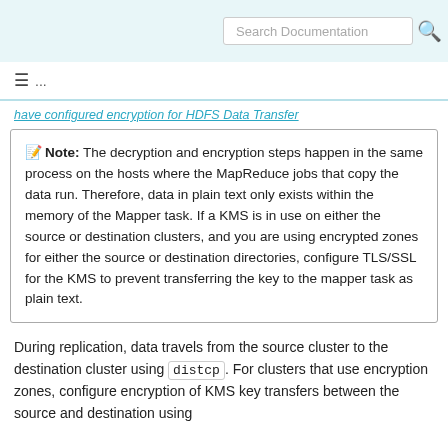Search Documentation
≡ ...  have configured encryption for HDFS Data Transfer
Note: The decryption and encryption steps happen in the same process on the hosts where the MapReduce jobs that copy the data run. Therefore, data in plain text only exists within the memory of the Mapper task. If a KMS is in use on either the source or destination clusters, and you are using encrypted zones for either the source or destination directories, configure TLS/SSL for the KMS to prevent transferring the key to the mapper task as plain text.
During replication, data travels from the source cluster to the destination cluster using distcp. For clusters that use encryption zones, configure encryption of KMS key transfers between the source and destination using